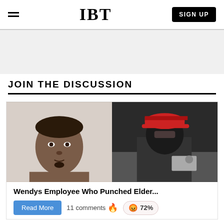IBT | SIGN UP
[Figure (other): Gray advertisement banner area]
JOIN THE DISCUSSION
[Figure (photo): Two-panel article image: left shows a mugshot of a young Black man; right shows a person wearing a red cap and dark clothing at a counter]
Wendys Employee Who Punched Elder...
Read More  11 comments 🔥  😡 72%